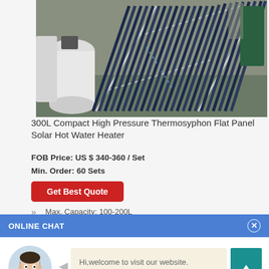[Figure (photo): Solar water heater with evacuated tubes mounted on a frame, with white storage tanks visible in the background, placed indoors on a concrete floor.]
300L Compact High Pressure Thermosyphon Flat Panel Solar Hot Water Heater
FOB Price: US $ 340-360 / Set
Min. Order: 60 Sets
Get Best Quote
Max. Capacity: 100-200L
ONLINE CHAT
[Figure (photo): Avatar photo of a young woman named Cilina, wearing a light blue shirt, circular cropped portrait.]
Hi,welcome to visit our website.
Cilina